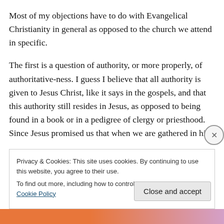Most of my objections have to do with Evangelical Christianity in general as opposed to the church we attend in specific.
The first is a question of authority, or more properly, of authoritative-ness. I guess I believe that all authority is given to Jesus Christ, like it says in the gospels, and that this authority still resides in Jesus, as opposed to being found in a book or in a pedigree of clergy or priesthood. Since Jesus promised us that when we are gathered in his
Privacy & Cookies: This site uses cookies. By continuing to use this website, you agree to their use.
To find out more, including how to control cookies, see here: Cookie Policy
Close and accept